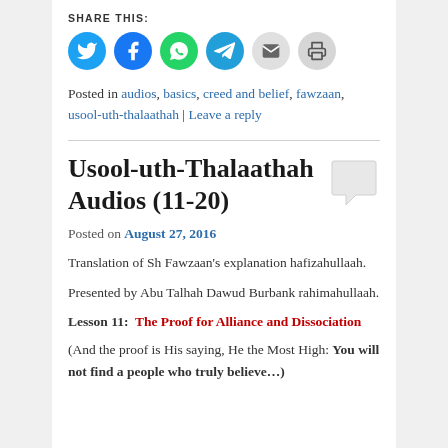SHARE THIS:
[Figure (illustration): Row of six circular social sharing icons: Twitter (blue bird), Facebook (blue f), WhatsApp (green phone), Telegram (blue paper plane), Email (grey envelope), Print (grey printer)]
Posted in audios, basics, creed and belief, fawzaan, usool-uth-thalaathah | Leave a reply
Usool-uth-Thalaathah Audios (11-20)
Posted on August 27, 2016
Translation of Sh Fawzaan's explanation hafizahullaah.
Presented by Abu Talhah Dawud Burbank rahimahullaah.
Lesson 11:  The Proof for Alliance and Dissociation
(And the proof is His saying, He the Most High: You will not find a people who truly believe...)